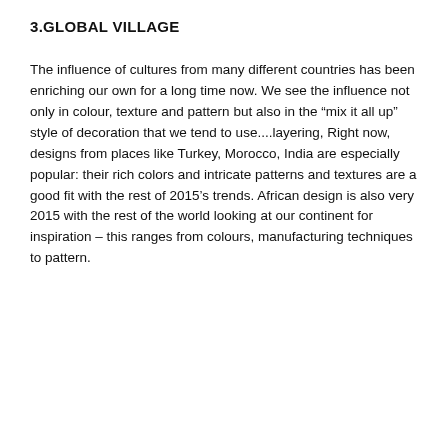3.GLOBAL VILLAGE
The influence of cultures from many different countries has been enriching our own for a long time now. We see the influence not only in colour, texture and pattern but also in the “mix it all up” style of decoration that we tend to use....layering, Right now, designs from places like Turkey, Morocco, India are especially popular: their rich colors and intricate patterns and textures are a good fit with the rest of 2015’s trends. African design is also very 2015 with the rest of the world looking at our continent for inspiration – this ranges from colours, manufacturing techniques to pattern.